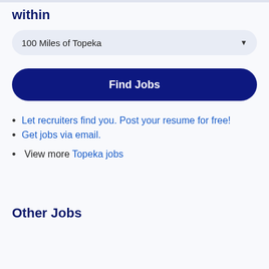within
100 Miles of Topeka
Find Jobs
Let recruiters find you. Post your resume for free!
Get jobs via email.
View more Topeka jobs
Other Jobs
Gopuff Delivery Gigs